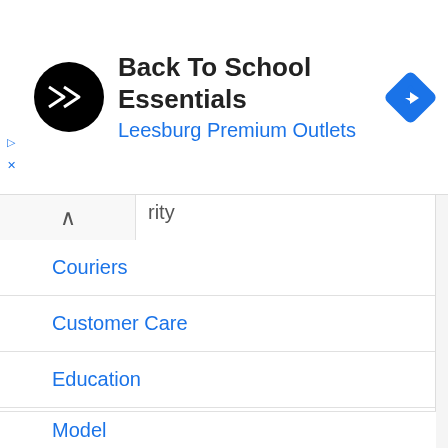[Figure (screenshot): Advertisement banner for 'Back To School Essentials' at Leesburg Premium Outlets, with a round black logo icon and a blue navigation/directions diamond icon on the right.]
rity
Couriers
Customer Care
Education
Electronics
Entertainment
Food
Government
Health
Hotel
Mobile
Model